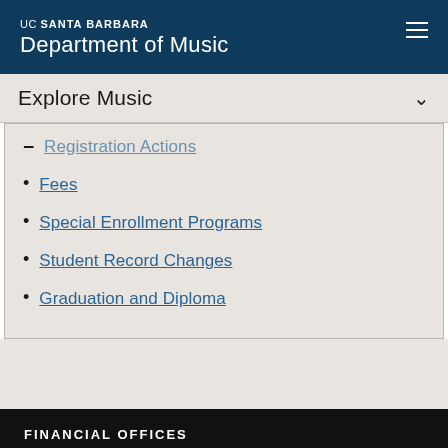UC SANTA BARBARA Department of Music
Explore Music
Registration Actions
Fees
Special Enrollment Programs
Student Record Changes
Graduation and Diploma
FINANCIAL OFFICES